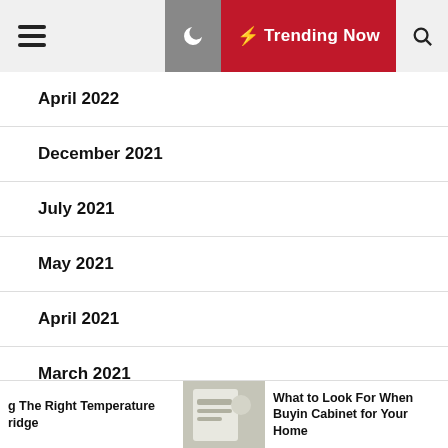Trending Now
April 2022
December 2021
July 2021
May 2021
April 2021
March 2021
February 2021
g The Right Temperature ridge
What to Look For When Buying Cabinet for Your Home